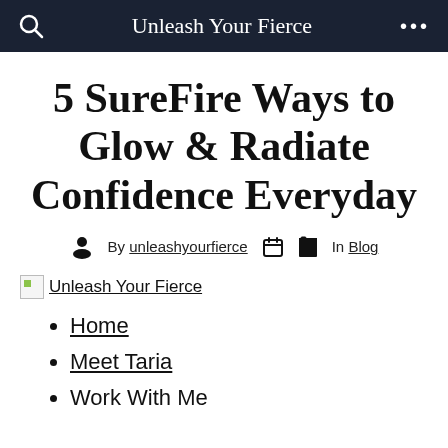Unleash Your Fierce
5 SureFire Ways to Glow & Radiate Confidence Everyday
By unleashyourfierce  In Blog
[Figure (logo): Broken image placeholder with 'Unleash Your Fierce' logo text]
Home
Meet Taria
Work With Me